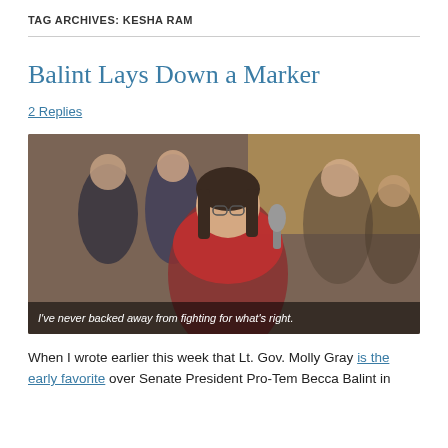TAG ARCHIVES: KESHA RAM
Balint Lays Down a Marker
2 Replies
[Figure (photo): A woman with dark hair and glasses wearing a red scarf speaks at a microphone at a podium, with a crowd of people standing behind her in what appears to be a formal government setting. Caption overlay reads: I've never backed away from fighting for what's right.]
When I wrote earlier this week that Lt. Gov. Molly Gray is the early favorite over Senate President Pro-Tem Becca Balint in